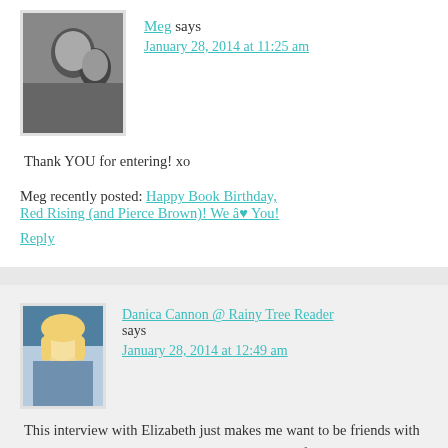[Figure (photo): Avatar photo of Meg, black and white image of two people]
Meg says
January 28, 2014 at 11:25 am
Thank YOU for entering! xo
Meg recently posted: Happy Book Birthday, Red Rising (and Pierce Brown)! We â™¥ You!
Reply
[Figure (photo): Avatar photo of Danica Cannon, blonde woman]
Danica Cannon @ Rainy Tree Reader says
January 28, 2014 at 12:49 am
This interview with Elizabeth just makes me want to be friends with her! I've seen Heartbeat around on a lot and the first time I heard about it I stuck it